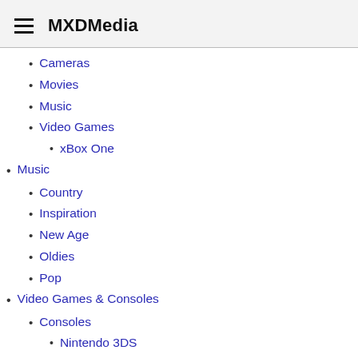MXDMedia
Cameras
Movies
Music
Video Games
xBox One
Music
Country
Inspiration
New Age
Oldies
Pop
Video Games & Consoles
Consoles
Nintendo 3DS
Playstation 3
Playstation 4
Sony PSP
WII
WII U